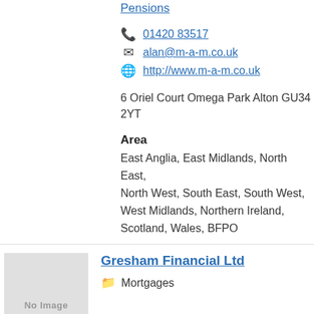Pensions
01420 83517
alan@m-a-m.co.uk
http://www.m-a-m.co.uk
6 Oriel Court Omega Park Alton GU34 2YT
Area
East Anglia, East Midlands, North East, North West, South East, South West, West Midlands, Northern Ireland, Scotland, Wales, BFPO
Gresham Financial Ltd
Mortgages